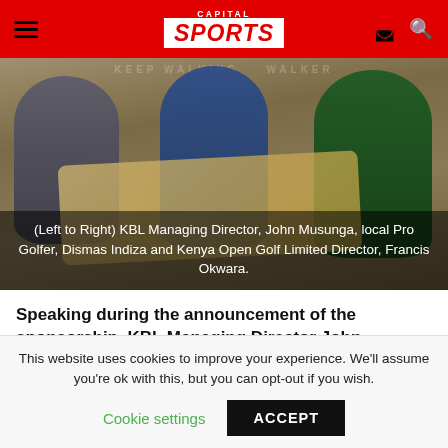CAPITAL SPORTS
[Figure (photo): Three men at a sponsorship announcement event. Left to right: KBL Managing Director John Musunga (wearing mask, grey suit), local Pro Golfer Dismas Indiza (blue and black jacket, cap), and Kenya Open Golf Limited Director Francis Okwara (green blazer, striped tie). They are holding a large rolled document/banner in front of a Johnnie Walker backdrop.]
(Left to Right) KBL Managing Director, John Musunga, local Pro Golfer, Dismas Indiza and Kenya Open Golf Limited Director, Francis Okwara.
Speaking during the announcement of the sponsorship, KBL Managing Director John Musunga noted that decision is founded on the Magical Kenya Open Golf
This website uses cookies to improve your experience. We'll assume you're ok with this, but you can opt-out if you wish.